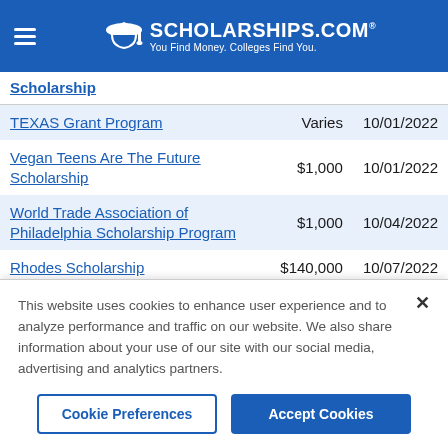SCHOLARSHIPS.COM — You Find Money. Colleges Find You.
| Scholarship |  |  |
| --- | --- | --- |
| TEXAS Grant Program | Varies | 10/01/2022 |
| Vegan Teens Are The Future Scholarship | $1,000 | 10/01/2022 |
| World Trade Association of Philadelphia Scholarship Program | $1,000 | 10/04/2022 |
| Rhodes Scholarship | $140,000 | 10/07/2022 |
| Sigma Phi Epsilon Balanced Man... | Varies | 10/07/2022 |
This website uses cookies to enhance user experience and to analyze performance and traffic on our website. We also share information about your use of our site with our social media, advertising and analytics partners.